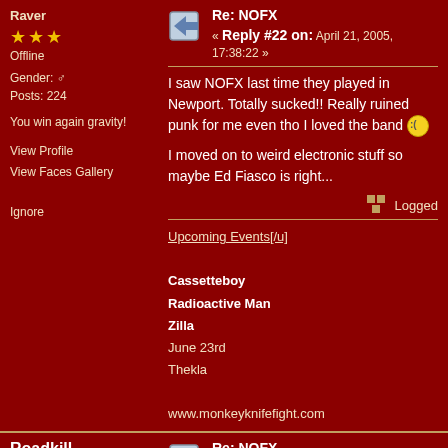Raver
Offline
Gender: [male] Posts: 224
You win again gravity!
View Profile View Faces Gallery Ignore
Reply #22 on: April 21, 2005, 17:38:22 »
I saw NOFX last time they played in Newport. Totally sucked!! Really ruined punk for me even tho I loved the band
I moved on to weird electronic stuff so maybe Ed Fiasco is right...
Logged
Upcoming Events[/u]
Cassetteboy
Radioactive Man
Zilla
June 23rd
Thekla
www.monkeyknifefight.com
Roadkill the VIII
Dub Specialist
Offline
Re: NOFX  Reply #23 on: April 22, 2005, 01:18:09 »
Me First and the Gimmie Gimmies and Snuff do it for me